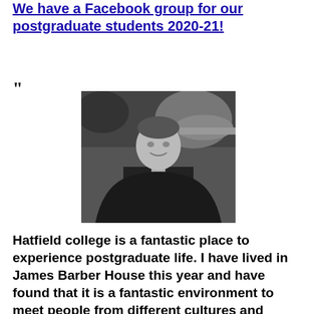We have a Facebook group for our postgraduate students 2020-21!
“
[Figure (photo): Black and white photograph of a young man in a suit and tie, smiling, with a blurred background.]
Hatfield college is a fantastic place to experience postgraduate life. I have lived in James Barber House this year and have found that it is a fantastic environment to meet people from different cultures and walks of life. There are plenty of